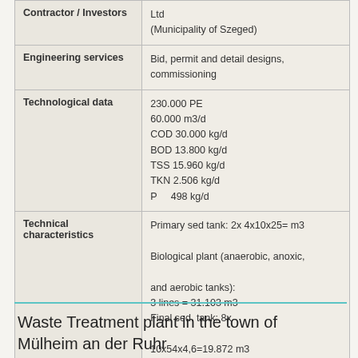|  |  |
| --- | --- |
| Contractor / Investors | Ltd
(Municipality of Szeged) |
| Engineering services | Bid, permit and detail designs, commissioning |
| Technological data | 230.000 PE
60.000 m3/d
COD 30.000 kg/d
BOD 13.800 kg/d
TSS 15.960 kg/d
TKN 2.506 kg/d
P    498 kg/d |
| Technical characteristics | Primary sed tank: 2x 4x10x25= m3
Biological plant (anaerobic, anoxic, and aerobic tanks):
3 lines = 31.103 m3
Final sed. tank: 8x
10x54x4,6=19.872 m3
Digesters 2x4000 m3
Sludge thickening and dewatering |
Waste Treatment plant in the town of Mülheim an der Ruhr